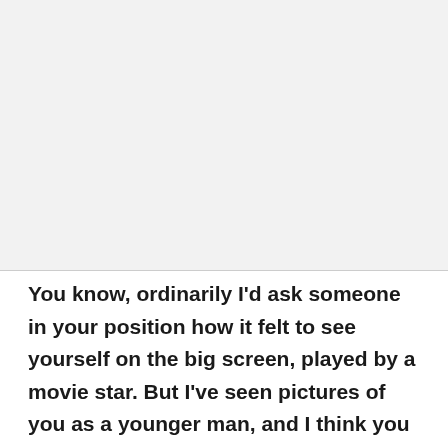[Figure (other): Large light gray blank area occupying the upper portion of the page]
You know, ordinarily I'd ask someone in your position how it felt to see yourself on the big screen, played by a movie star. But I've seen pictures of you as a younger man, and I think you were a better-looking guy than Tom Hanks.